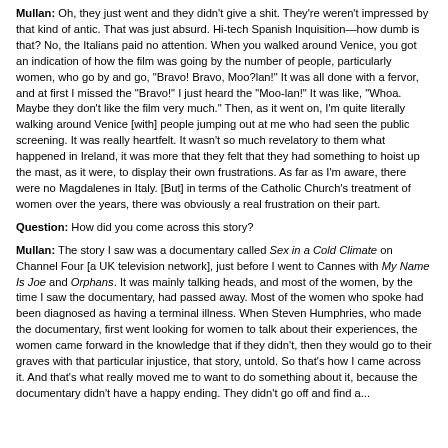Mullan: Oh, they just went and they didn't give a shit. They're weren't impressed by that kind of antic. That was just absurd. Hi-tech Spanish Inquisition—how dumb is that? No, the Italians paid no attention. When you walked around Venice, you got an indication of how the film was going by the number of people, particularly women, who go by and go, "Bravo! Bravo, Moo?lan!" It was all done with a fervor, and at first I missed the "Bravo!" I just heard the "Moo-lan!" It was like, "Whoa. Maybe they don't like the film very much." Then, as it went on, I'm quite literally walking around Venice [with] people jumping out at me who had seen the public screening. It was really heartfelt. It wasn't so much revelatory to them what happened in Ireland, it was more that they felt that they had something to hoist up the mast, as it were, to display their own frustrations. As far as I'm aware, there were no Magdalenes in Italy. [But] in terms of the Catholic Church's treatment of women over the years, there was obviously a real frustration on their part.
Question: How did you come across this story?
Mullan: The story I saw was a documentary called Sex in a Cold Climate on Channel Four [a UK television network], just before I went to Cannes with My Name Is Joe and Orphans. It was mainly talking heads, and most of the women, by the time I saw the documentary, had passed away. Most of the women who spoke had been diagnosed as having a terminal illness. When Steven Humphries, who made the documentary, first went looking for women to talk about their experiences, the women came forward in the knowledge that if they didn't, then they would go to their graves with that particular injustice, that story, untold. So that's how I came across it. And that's what really moved me to want to do something about it, because the documentary didn't have a happy ending. They didn't go off and find a...